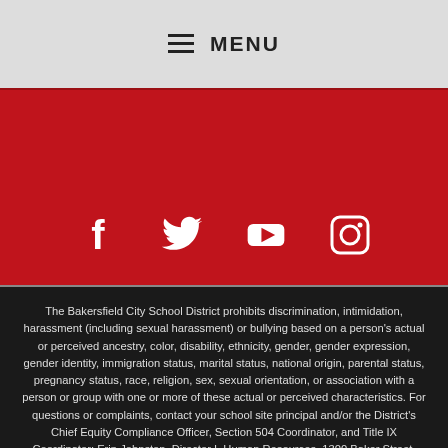☰ MENU
[Figure (illustration): Red banner with social media icons: Facebook, Twitter, YouTube, Instagram]
The Bakersfield City School District prohibits discrimination, intimidation, harassment (including sexual harassment) or bullying based on a person's actual or perceived ancestry, color, disability, ethnicity, gender, gender expression, gender identity, immigration status, marital status, national origin, parental status, pregnancy status, race, religion, sex, sexual orientation, or association with a person or group with one or more of these actual or perceived characteristics. For questions or complaints, contact your school site principal and/or the District's Chief Equity Compliance Officer, Section 504 Coordinator, and Title IX Coordinator: Erin Johnston, Director I, Human Resources, 1300 Baker Street, Bakersfield, CA 93305, (661) 631-4663, johnstone@bcsd.com. El Distrito Escolar de